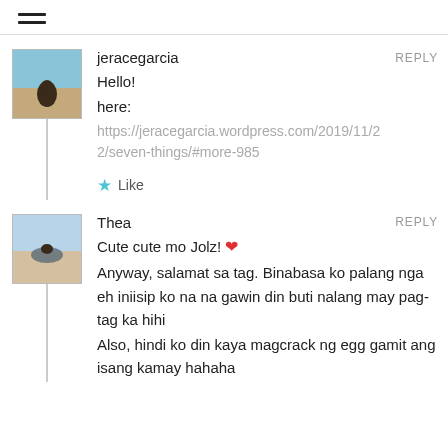≡ (hamburger menu icon)
jeracegarcia
REPLY
Hello!
here:
https://jeracegarcia.wordpress.com/2019/11/22/seven-things/#more-985
★ Like
Thea
REPLY
Cute cute mo Jolz! ❤
Anyway, salamat sa tag. Binabasa ko palang nga eh iniisip ko na na gawin din buti nalang may pag-tag ka hihi
Also, hindi ko din kaya magcrack ng egg gamit ang isang kamay hahaha